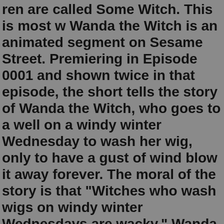ren are called Some Witch. This is most w Wanda the Witch is an animated segment on Sesame Street. Premiering in Episode 0001 and shown twice in that episode, the short tells the story of Wanda the Witch, who goes to a well on a windy winter Wednesday to wash her wig, only to have a gust of wind blow it away forever. The moral of the story is that "Witches who wash wigs on windy winter Wednesdays are wacky." Wanda also wore a worm for ... The series was produced by SIP Animation in association with and participation from Jetix Europe, The Walt Disney Company, France 3 and Super RTL. Like the comic, the show follows five girls: Will, Irma, Taranee, Cornelia and Hay Lin who have magical powers which they use to fulfill their duties as "Guardians of the Veil".10 Madam Mim Appearing in the animated film The Sword in the Stone, Madam Mim is a wicked and villainous witch who uses her magic abilities to make life miserable for others. She demonstrates some considerable power as she is able to transform herself into several different forms, including a